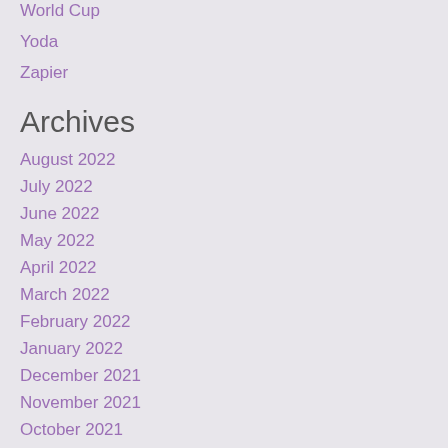World Cup
Yoda
Zapier
Archives
August 2022
July 2022
June 2022
May 2022
April 2022
March 2022
February 2022
January 2022
December 2021
November 2021
October 2021
September 2021
August 2021
July 2021